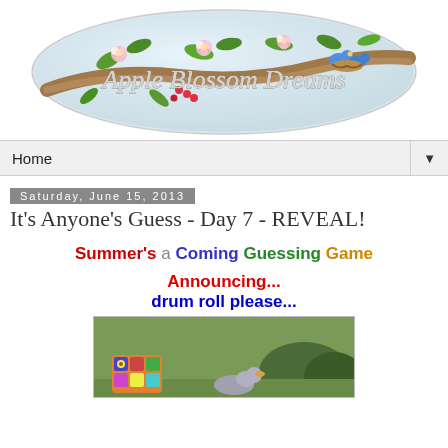[Figure (illustration): Apple Blossom Dreams blog logo — an oval/ellipse shape with a painted tree branch, pink and white apple blossoms, green leaves, and two blue birds in a nest. Cursive-style text 'Apple Blossom Dreams' overlays the branch.]
Home ▼
Saturday, June 15, 2013
It's Anyone's Guess - Day 7 - REVEAL!
Summer's a Coming Guessing Game
Announcing... drum roll please...
[Figure (photo): Photo of a colorful crocheted basket/tote and a goose or duck figurine on grass with blue-green shrubs in the background.]